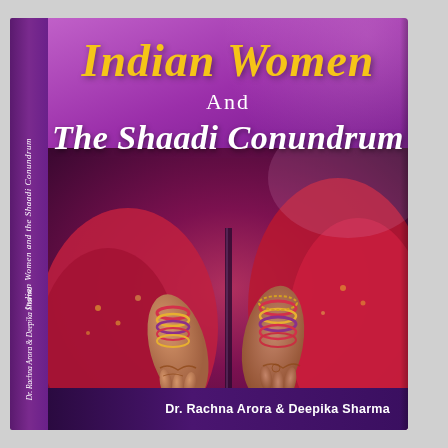[Figure (illustration): 3D perspective book cover of 'Indian Women And The Shaadi Conundrum' by Dr. Rachna Arora & Deepika Sharma. The cover has a purple/magenta gradient background with a photograph of Indian wedding hands with bangles and red attire. Title in yellow italic and white text. Author names on a dark purple band at the bottom. The book spine is visible on the left with the title and author in white vertical text.]